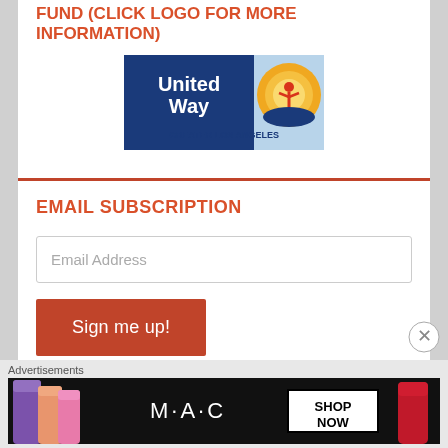FUND (CLICK LOGO FOR MORE INFORMATION)
[Figure (logo): United Way Greater Los Angeles logo — blue square on left with white 'United Way' text, and a circular golden/orange sunburst design on the right with a red figure raising arms, held by blue hands, with 'GREATER LOS ANGELES' text beneath in dark blue.]
EMAIL SUBSCRIPTION
Email Address
Sign me up!
Advertisements
[Figure (photo): M·A·C cosmetics advertisement banner showing lipsticks in purple, peach, and pink colors on the left, M·A·C logo in the center, and a 'SHOP NOW' button in a box on the right, with red lipstick on the far right.]